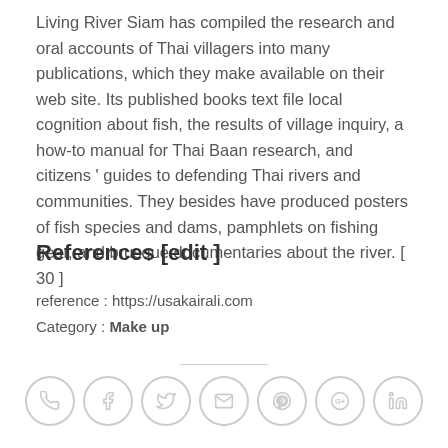Living River Siam has compiled the research and oral accounts of Thai villagers into many publications, which they make available on their web site. Its published books text file local cognition about fish, the results of village inquiry, a how-to manual for Thai Baan research, and citizens ' guides to defending Thai rivers and communities. They besides have produced posters of fish species and dams, pamphlets on fishing gear, and brusque documentaries about the river. [ 30 ]
References [edit ]
reference : https://usakairali.com
Category : Make up
[Figure (other): A horizontal row of 7 social/share icon circles: phone, facebook, twitter, email, pinterest, google+, linkedin]